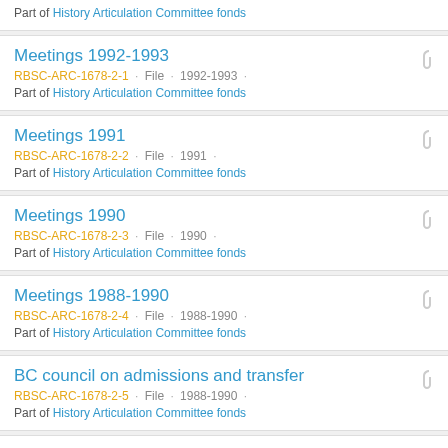Part of History Articulation Committee fonds
Meetings 1992-1993
RBSC-ARC-1678-2-1 · File · 1992-1993 ·
Part of History Articulation Committee fonds
Meetings 1991
RBSC-ARC-1678-2-2 · File · 1991 ·
Part of History Articulation Committee fonds
Meetings 1990
RBSC-ARC-1678-2-3 · File · 1990 ·
Part of History Articulation Committee fonds
Meetings 1988-1990
RBSC-ARC-1678-2-4 · File · 1988-1990 ·
Part of History Articulation Committee fonds
BC council on admissions and transfer
RBSC-ARC-1678-2-5 · File · 1988-1990 ·
Part of History Articulation Committee fonds
Curriculum guidelines